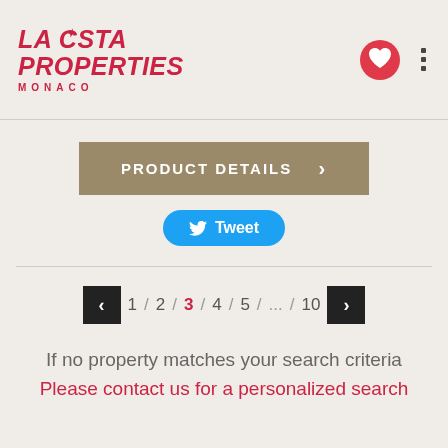[Figure (logo): La Costa Properties Monaco logo in red italic text with a star/diamond symbol]
[Figure (other): Red heart icon with '0' badge and vertical menu dots]
PRODUCT DETAILS >
Tweet
< 1 / 2 / 3 / 4 / 5 / ... / 10 >
If no property matches your search criteria
Please contact us for a personalized search